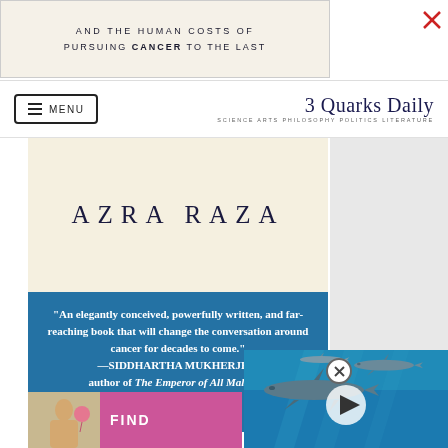[Figure (other): Top advertisement banner with text about cancer book, cream/beige background]
3 Quarks Daily – SCIENCE ARTS PHILOSOPHY POLITICS LITERATURE
[Figure (other): Book advertisement showing author name AZRA RAZA on cream background, followed by blue section with quote from Siddhartha Mukherjee and ORDER NOW call to action]
[Figure (photo): Video overlay showing sharks swimming in blue water with a play button]
[Figure (photo): Bottom advertisement with lifestyle photo and FIND text in pink/magenta]